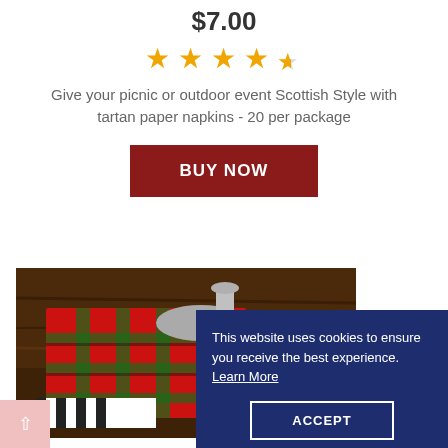$7.00
[Figure (other): Star rating: 4.5 out of 5 stars]
Give your picnic or outdoor event Scottish Style with tartan paper napkins - 20 per package
BUY NOW
[Figure (photo): Photo of tartan plaid napkins on a wooden table with silverware and greenery]
This website uses cookies to ensure you receive the best experience. Learn More
ACCEPT